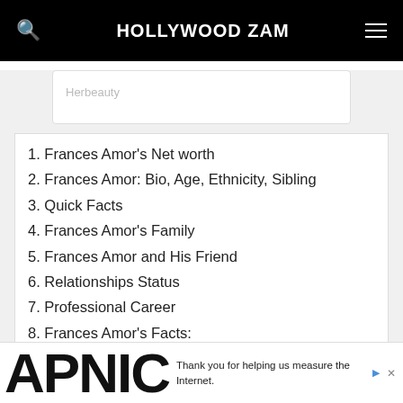HOLLYWOOD ZAM
[Figure (screenshot): Herbeauty advertisement placeholder box with gray label text]
1. Frances Amor's Net worth
2. Frances Amor: Bio, Age, Ethnicity, Sibling
3. Quick Facts
4. Frances Amor's Family
5. Frances Amor and His Friend
6. Relationships Status
7. Professional Career
8. Frances Amor's Facts:
[Figure (screenshot): APNIC advertisement banner at bottom with text: Thank you for helping us measure the Internet.]